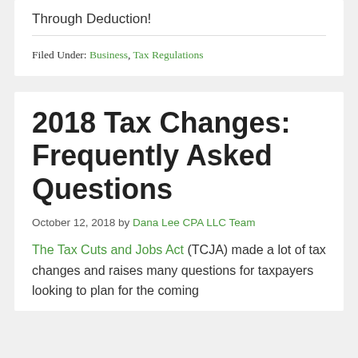Through Deduction!
Filed Under: Business, Tax Regulations
2018 Tax Changes: Frequently Asked Questions
October 12, 2018 by Dana Lee CPA LLC Team
The Tax Cuts and Jobs Act (TCJA) made a lot of tax changes and raises many questions for taxpayers looking to plan for the coming